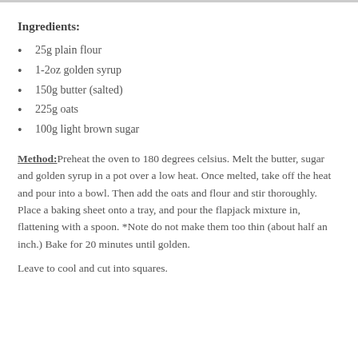Ingredients:
25g plain flour
1-2oz golden syrup
150g butter (salted)
225g oats
100g light brown sugar
Method: Preheat the oven to 180 degrees celsius. Melt the butter, sugar and golden syrup in a pot over a low heat. Once melted, take off the heat and pour into a bowl. Then add the oats and flour and stir thoroughly. Place a baking sheet onto a tray, and pour the flapjack mixture in, flattening with a spoon. *Note do not make them too thin (about half an inch.) Bake for 20 minutes until golden.
Leave to cool and cut into squares.